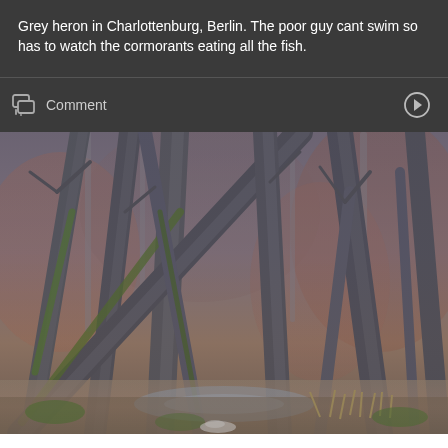Grey heron in Charlottenburg, Berlin. The poor guy cant swim so has to watch the cormorants eating all the fish.
Comment
[Figure (photo): Dense forest scene with many tall, slender tree trunks covered in moss, photographed in winter or early spring with bare branches. A small clearing or water visible at the base. Muted grey-blue tones with patches of green moss and reddish-brown background foliage.]